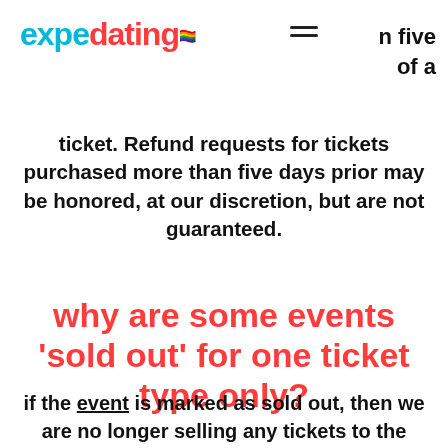expedating
n five
of a
ticket. Refund requests for tickets purchased more than five days prior may be honored, at our discretion, but are not guaranteed.
why are some events 'sold out' for one ticket type only?
if the event is marked as sold out, then we are no longer selling any tickets to the event.